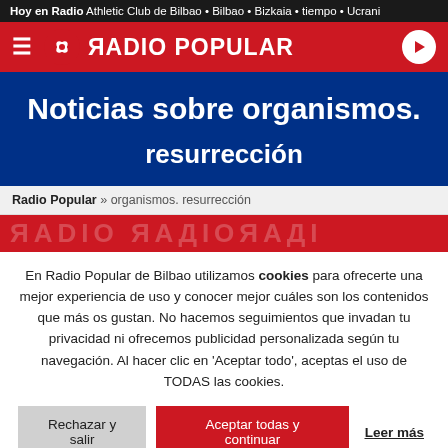Hoy en Radio  Athletic Club de Bilbao • Bilbao • Bizkaia • tiempo • Ucrani
[Figure (logo): Radio Popular navigation bar with red background, hamburger menu, butterfly logo, RADIO POPULAR text, and play button]
Noticias sobre organismos.
resurrección
Radio Popular » organismos. resurrección
[Figure (screenshot): Red banner with faded white text watermark]
En Radio Popular de Bilbao utilizamos cookies para ofrecerte una mejor experiencia de uso y conocer mejor cuáles son los contenidos que más os gustan. No hacemos seguimientos que invadan tu privacidad ni ofrecemos publicidad personalizada según tu navegación. Al hacer clic en 'Aceptar todo', aceptas el uso de TODAS las cookies.
Rechazar y salir  Aceptar todas y continuar  Leer más